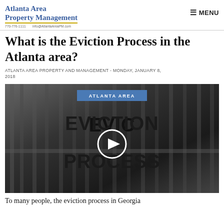Atlanta Area Property Management | MENU
What is the Eviction Process in the Atlanta area?
ATLANTA AREA PROPERTY AND MANAGEMENT - MONDAY, JANUARY 8, 2018
[Figure (screenshot): Video thumbnail showing metal gate/fence bars with handwritten-style text reading 'EVICTION PROCESS'. A blue badge reading 'ATLANTA AREA' appears at the top center. A white circular play button is centered over the image.]
To many people, the eviction process in Georgia